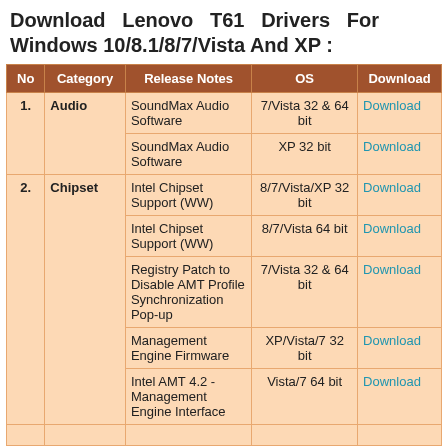Download Lenovo T61 Drivers For Windows 10/8.1/8/7/Vista And XP :
| No | Category | Release Notes | OS | Download |
| --- | --- | --- | --- | --- |
| 1. | Audio | SoundMax Audio Software | 7/Vista 32 & 64 bit | Download |
|  |  | SoundMax Audio Software | XP 32 bit | Download |
| 2. | Chipset | Intel Chipset Support (WW) | 8/7/Vista/XP 32 bit | Download |
|  |  | Intel Chipset Support (WW) | 8/7/Vista 64 bit | Download |
|  |  | Registry Patch to Disable AMT Profile Synchronization Pop-up | 7/Vista 32 & 64 bit | Download |
|  |  | Management Engine Firmware | XP/Vista/7 32 bit | Download |
|  |  | Intel AMT 4.2 - Management Engine Interface | Vista/7 64 bit | Download |